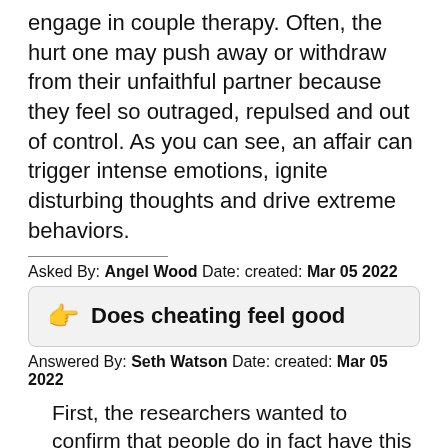engage in couple therapy. Often, the hurt one may push away or withdraw from their unfaithful partner because they feel so outraged, repulsed and out of control. As you can see, an affair can trigger intense emotions, ignite disturbing thoughts and drive extreme behaviors.
Asked By: Angel Wood Date: created: Mar 05 2022
Does cheating feel good
Answered By: Seth Watson Date: created: Mar 05 2022
First, the researchers wanted to confirm that people do in fact have this kind of positive feeling after cheating. Rita Handrich, from the blog The Jury